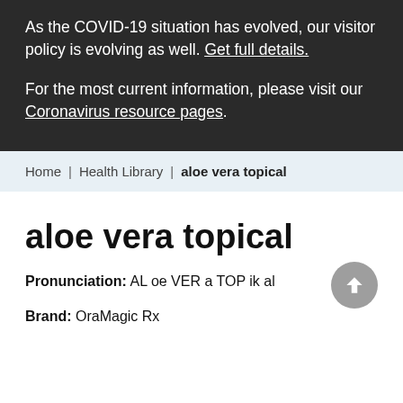As the COVID-19 situation has evolved, our visitor policy is evolving as well. Get full details.
For the most current information, please visit our Coronavirus resource pages.
Home | Health Library | aloe vera topical
aloe vera topical
Pronunciation: AL oe VER a TOP ik al
Brand: OraMagic Rx